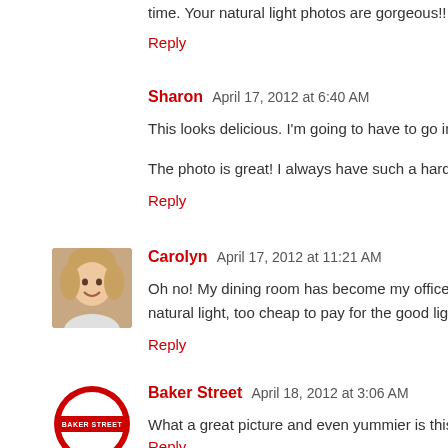time. Your natural light photos are gorgeous!! Love them and
Reply
Sharon  April 17, 2012 at 6:40 AM
This looks delicious. I'm going to have to go in search of a ca
The photo is great! I always have such a hard time finding the
Reply
[Figure (photo): Avatar photo of Carolyn - woman smiling]
Carolyn  April 17, 2012 at 11:21 AM
Oh no! My dining room has become my office, essentially, natural light, too cheap to pay for the good lights! But things li
Reply
[Figure (logo): Baker Street London Underground logo - red circle with horizontal red bar and BAKER STREET text]
Baker Street  April 18, 2012 at 3:06 AM
What a great picture and even yummier is this dish! Congratu
Reply